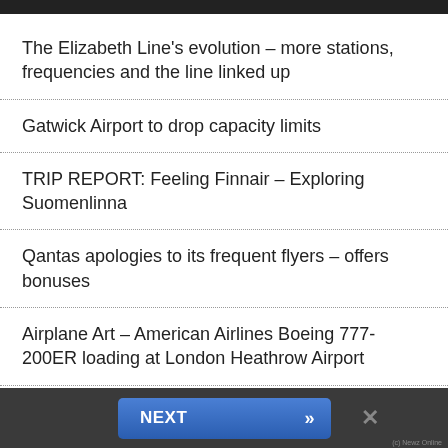The Elizabeth Line's evolution – more stations, frequencies and the line linked up
Gatwick Airport to drop capacity limits
TRIP REPORT: Feeling Finnair – Exploring Suomenlinna
Qantas apologies to its frequent flyers – offers bonuses
Airplane Art – American Airlines Boeing 777-200ER loading at London Heathrow Airport
NEXT »  ×  (c) Newz Online